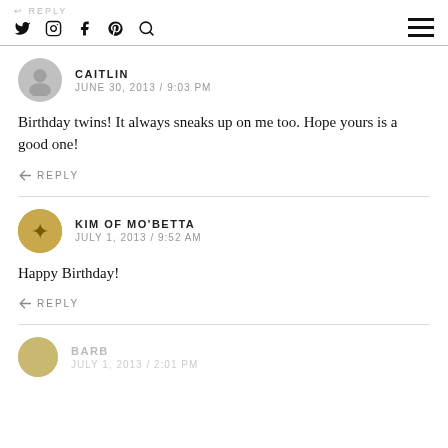↩ REPLY — social icons: Twitter, Instagram, Facebook, Pinterest, Search — hamburger menu
CAITLIN
JUNE 30, 2013 / 9:03 PM
Birthday twins! It always sneaks up on me too. Hope yours is a good one!
↩ REPLY
KIM OF MO'BETTA
JULY 1, 2013 / 9:52 AM
Happy Birthday!
↩ REPLY
BARB
JULY 1, 2013 / 2:01 PM